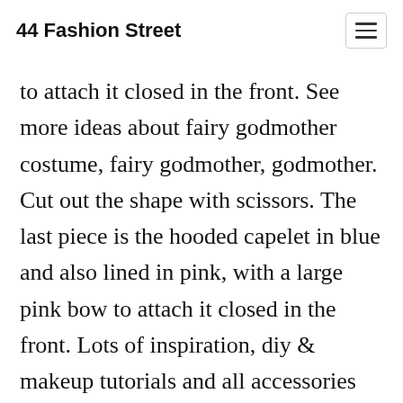44 Fashion Street
to attach it closed in the front. See more ideas about fairy godmother costume, fairy godmother, godmother. Cut out the shape with scissors. The last piece is the hooded capelet in blue and also lined in pink, with a large pink bow to attach it closed in the front. Lots of inspiration, diy & makeup tutorials and all accessories you need to create your own diy shrek fairy godmother costume for halloween.